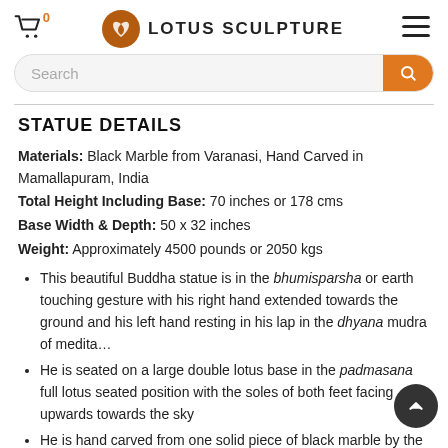0  LOTUS SCULPTURE  ☰
Search
STATUE DETAILS
Materials: Black Marble from Varanasi, Hand Carved in Mamallapuram, India
Total Height Including Base: 70 inches or 178 cms
Base Width & Depth: 50 x 32 inches
Weight: Approximately 4500 pounds or 2050 kgs
This beautiful Buddha statue is in the bhumisparsha or earth touching gesture with his right hand extended towards the ground and his left hand resting in his lap in the dhyana mudra of meditation
He is seated on a large double lotus base in the padmasana full lotus seated position with the soles of both feet facing upwards towards the sky
He is hand carved from one solid piece of black marble by the artists of Varanasi and completely